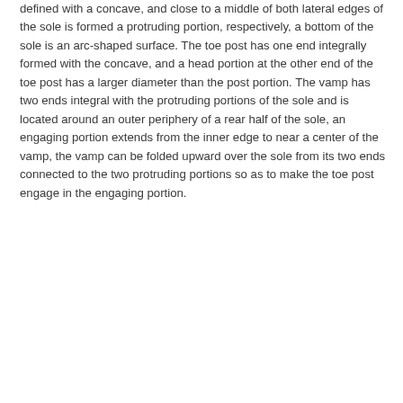defined with a concave, and close to a middle of both lateral edges of the sole is formed a protruding portion, respectively, a bottom of the sole is an arc-shaped surface. The toe post has one end integrally formed with the concave, and a head portion at the other end of the toe post has a larger diameter than the post portion. The vamp has two ends integral with the protruding portions of the sole and is located around an outer periphery of a rear half of the sole, an engaging portion extends from the inner edge to near a center of the vamp, the vamp can be folded upward over the sole from its two ends connected to the two protruding portions so as to make the toe post engage in the engaging portion.